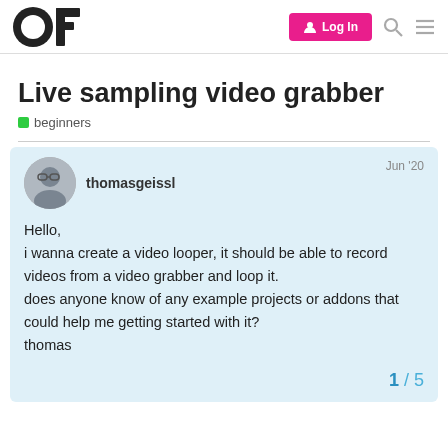OF | Log In
Live sampling video grabber
beginners
thomasgeissl   Jun '20

Hello,
i wanna create a video looper, it should be able to record videos from a video grabber and loop it.
does anyone know of any example projects or addons that could help me getting started with it?
thomas
1 / 5